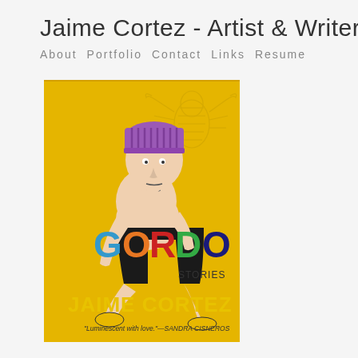Jaime Cortez - Artist & Writer
About  Portfolio  Contact  Links  Resume
[Figure (illustration): Book cover of 'Gordo: Stories' by Jaime Cortez. Yellow background with a line-drawing illustration of a chubby boy wearing a purple striped beanie hat, crouching down. The word GORDO is displayed in large multicolored letters (blue G, orange O, red R, green D, dark blue O). Below it says STORIES in smaller text. At the bottom, JAIME CORTEZ appears in yellow letters, with a quote: 'Luminescent with love.' —SANDRA CISNEROS]